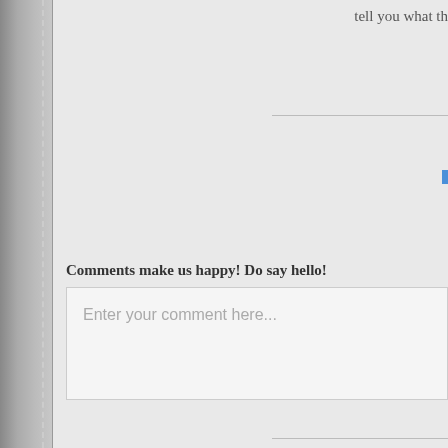tell you what th
Comments make us happy! Do say hello!
Enter your comment here...